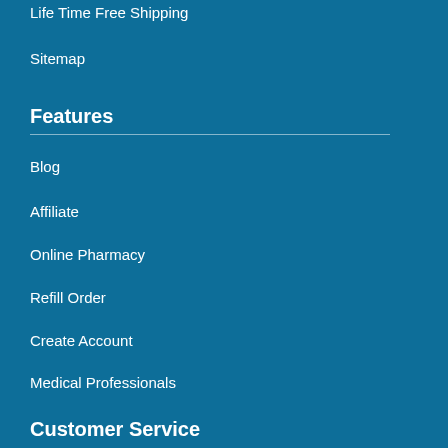Life Time Free Shipping
Sitemap
Features
Blog
Affiliate
Online Pharmacy
Refill Order
Create Account
Medical Professionals
Customer Service
FAQ
Coupons & Offers